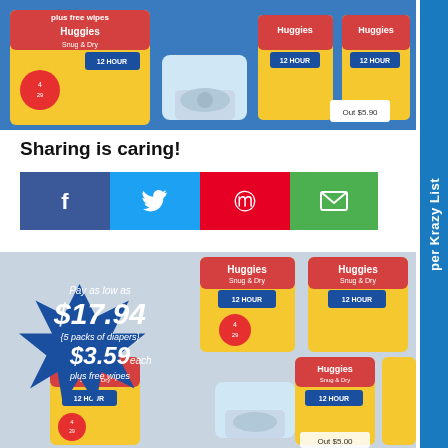[Figure (photo): Photo of Huggies Snug & Dry diapers packages and wipes on a store shelf or display.]
Sharing is caring!
[Figure (infographic): Social sharing buttons: Facebook (blue), Twitter (cyan), Pinterest (red), Email (green)]
[Figure (photo): Photo of multiple Huggies Snug & Dry diaper packs (size 4, 29 count) with promotional starburst overlay showing: Pay as low as $17.94 {5 packs of diapers} $3.59 each plus free wipes]